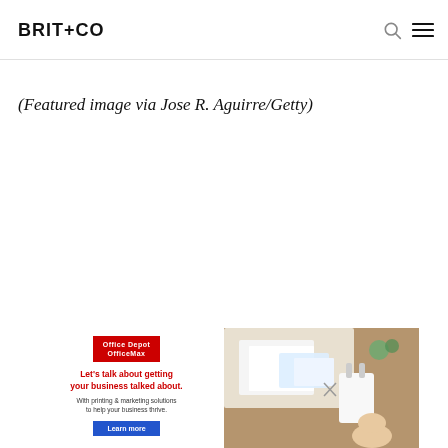BRIT+CO
(Featured image via Jose R. Aguirre/Getty)
[Figure (infographic): Office Depot OfficeMax advertisement banner: red logo badge, headline 'Let's talk about getting your business talked about.', subtext 'With printing & marketing solutions to help your business thrive.', blue 'Learn more' button, right side shows office/stationery supplies photo on wooden desk]